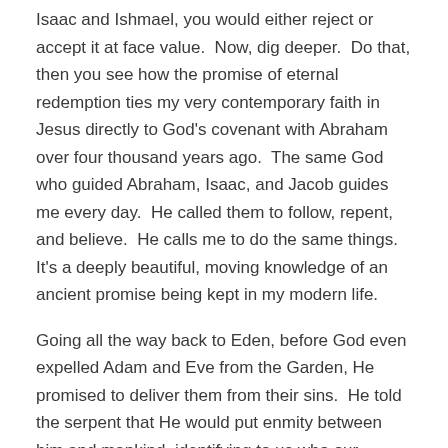Isaac and Ishmael, you would either reject or accept it at face value.  Now, dig deeper.  Do that, then you see how the promise of eternal redemption ties my very contemporary faith in Jesus directly to God's covenant with Abraham over four thousand years ago.  The same God who guided Abraham, Isaac, and Jacob guides me every day.  He called them to follow, repent, and believe.  He calls me to do the same things.  It's a deeply beautiful, moving knowledge of an ancient promise being kept in my modern life.
Going all the way back to Eden, before God even expelled Adam and Eve from the Garden, He promised to deliver them from their sins.  He told the serpent that He would put enmity between him and mankind, identifying to us who our enemy was.  And God then immediately told the devil that He (God) would crush